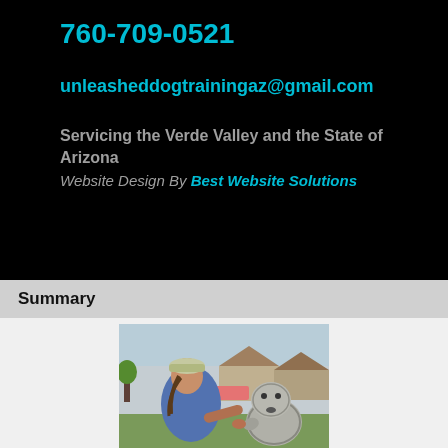760-709-0521
unleasheddogtrainingaz@gmail.com
Servicing the Verde Valley and the State of Arizona
Website Design By Best Website Solutions
Summary
[Figure (photo): A woman in a blue shirt and cap interacting with a fluffy gray dog outdoors, on grass, with houses in the background.]